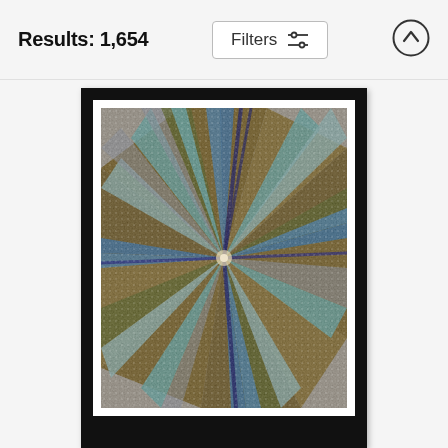Results: 1,654
Filters
[Figure (screenshot): Framed art print showing a kaleidoscopic floral pattern with radiating feather-like petals in blue, teal, olive green, brown and gray tones, displayed in a thick black frame with white mat]
Flowers 65 Framed Print